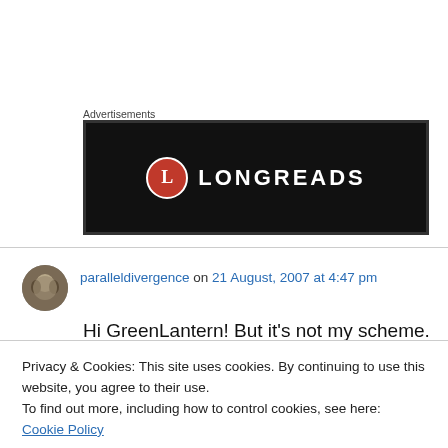Advertisements
[Figure (logo): Longreads advertisement banner: black background with red circle logo containing letter L and white text LONGREADS]
paralleldivergence on 21 August, 2007 at 4:47 pm
Hi GreenLantern! But it’s not my scheme. It’s
Privacy & Cookies: This site uses cookies. By continuing to use this website, you agree to their use.
To find out more, including how to control cookies, see here: Cookie Policy
Close and accept
occurred because you were slack with your own